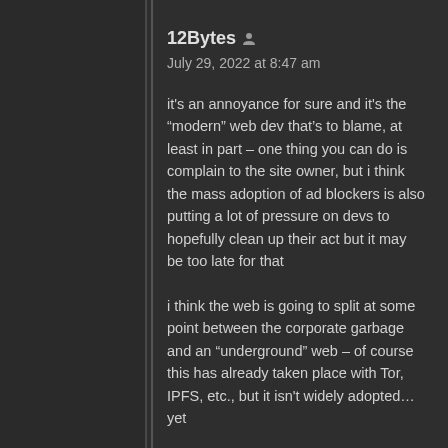12Bytes
July 29, 2022 at 8:47 am
it's an annoyance for sure and it's the “modern” web dev that's to blame, at least in part – one thing you can do is complain to the site owner, but i think the mass adoption of ad blockers is also putting a lot of pressure on devs to hopefully clean up their act but it may be too late for that
i think the web is going to split at some point between the corporate garbage and an “underground” web – of course this has already taken place with Tor, IPFS, etc., but it isn't widely adopted… yet